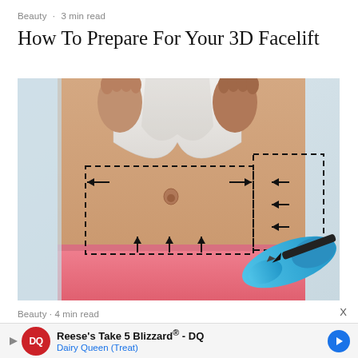Beauty · 3 min read
How To Prepare For Your 3D Facelift
[Figure (photo): A person's abdomen being marked with dashed lines by a medical professional wearing blue latex gloves, indicating areas for a cosmetic surgery procedure. The person is lifting their white shirt to expose their midsection and wearing pink pants.]
Beauty · 4 min read
X
Reese's Take 5 Blizzard® - DQ
Dairy Queen (Treat)